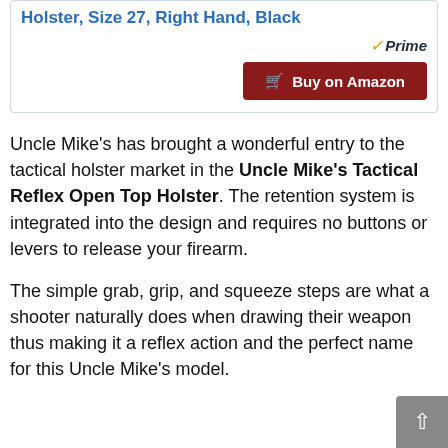Holster, Size 27, Right Hand, Black
[Figure (other): Amazon Prime badge and Buy on Amazon button]
Uncle Mike’s has brought a wonderful entry to the tactical holster market in the Uncle Mike’s Tactical Reflex Open Top Holster. The retention system is integrated into the design and requires no buttons or levers to release your firearm.
The simple grab, grip, and squeeze steps are what a shooter naturally does when drawing their weapon thus making it a reflex action and the perfect name for this Uncle Mike’s model.